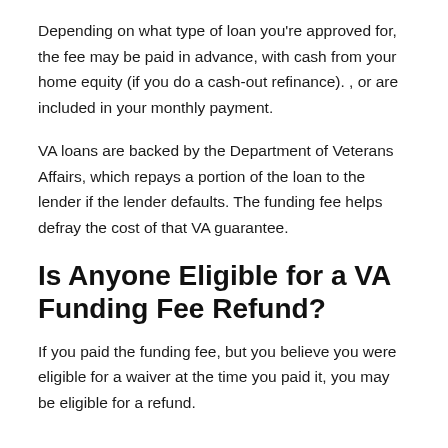Depending on what type of loan you're approved for, the fee may be paid in advance, with cash from your home equity (if you do a cash-out refinance). , or are included in your monthly payment.
VA loans are backed by the Department of Veterans Affairs, which repays a portion of the loan to the lender if the lender defaults. The funding fee helps defray the cost of that VA guarantee.
Is Anyone Eligible for a VA Funding Fee Refund?
If you paid the funding fee, but you believe you were eligible for a waiver at the time you paid it, you may be eligible for a refund.